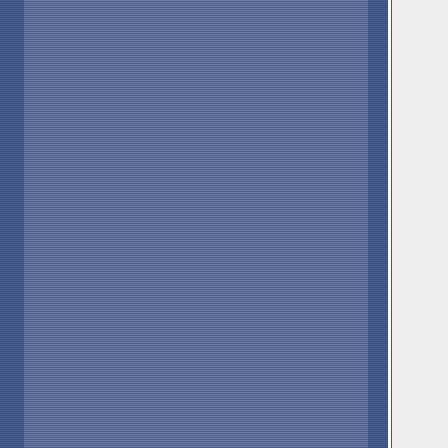[Figure (screenshot): Forum post page screenshot showing a blue striped left sidebar, a light grey center panel, and truncated text content on the right side. The text discusses Academic requirements, counseling, and study tips.]
to go to graduate...
Determining contact Academy the Academy counsel with the...
The second Academy 4.0 student captains something well on if you ta Verbal a Verbal a concern counsel...
http://ww http://ww webpag...
07-22-2004, 7:39 AM